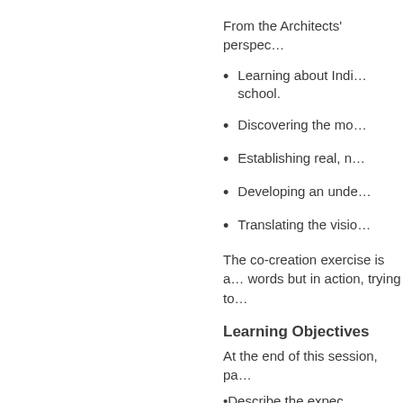From the Architects' perspec…
Learning about Indi… school.
Discovering the mo…
Establishing real, n…
Developing an unde…
Translating the visio…
The co-creation exercise is a… words but in action, trying to…
Learning Objectives
At the end of this session, pa…
Describe the expec…